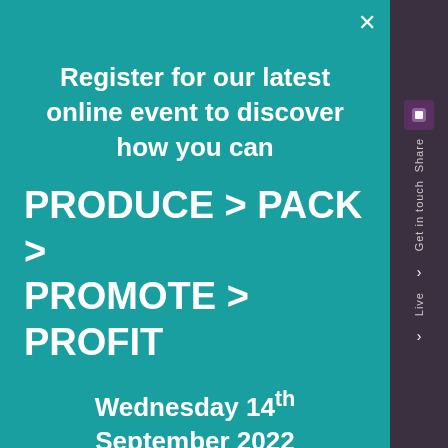Register for our latest online event to discover how you can
PRODUCE > PACK > PROMOTE > PROFIT
Wednesday 14th September 2022
Register